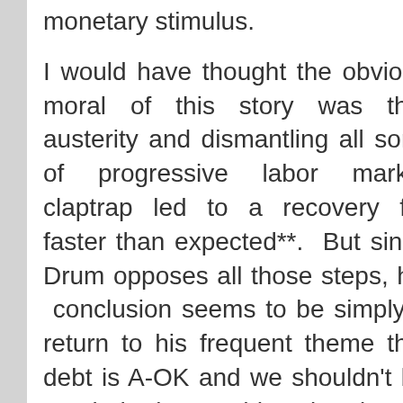monetary stimulus.
I would have thought the obvious moral of this story was that austerity and dismantling all sorts of progressive labor market claptrap led to a recovery far faster than expected**. But since Drum opposes all those steps, his conclusion seems to be simply a return to his frequent theme that debt is A-OK and we shouldn't be worried about addressing it any time soon.
** I don't believe for a moment that Greece has really changed the worst